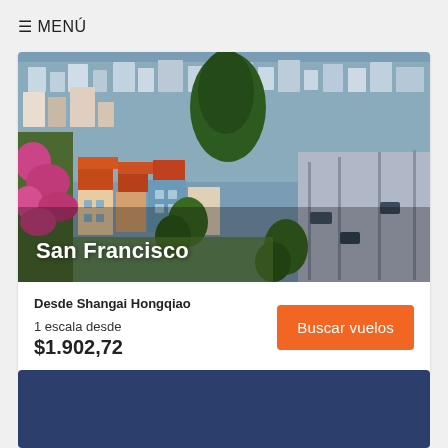≡ MENÚ
[Figure (photo): Aerial/elevated view of San Francisco cityscape with colorful houses, trees, and streets on hilly terrain]
San Francisco
Desde Shangai Hongqiao
1 escala desde $1.902,72
Buscar vuelos
[Figure (other): Dark navy blue background card at bottom of page]